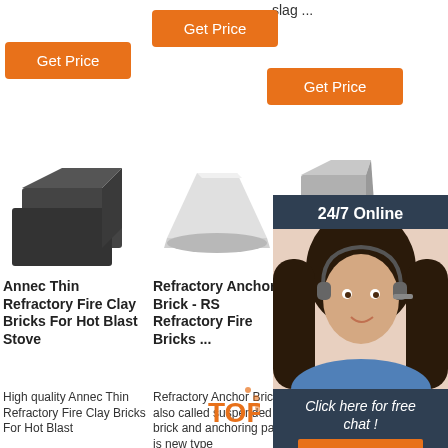slag ...
Get Price
Get Price
Get Price
[Figure (photo): Dark black refractory fire clay bricks stacked]
[Figure (photo): White refractory anchor brick, trapezoidal shape]
[Figure (photo): Grey low density fire insulation brick]
24/7 Online
[Figure (photo): Woman with headset smiling, customer service representative]
Click here for free chat !
QUOTATION
Annec Thin Refractory Fire Clay Bricks For Hot Blast Stove
Refractory Anchor Brick - RS Refractory Fire Bricks ...
Low D... Fire I... Bricks... Customized ...
High quality Annec Thin Refractory Fire Clay Bricks For Hot Blast
Refractory Anchor Brick, also called suspended brick and anchoring parts, is new type
Low Density Fire Insulation Bricks Size Customized Lightweight Fire Brick For Furnace